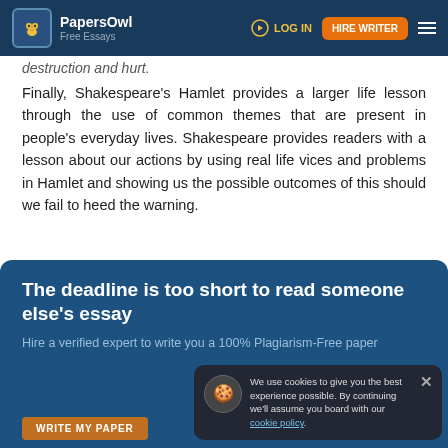PapersOwl Free Essays | LOG IN | HIRE WRITER
destruction and hurt.
Finally, Shakespeare’s Hamlet provides a larger life lesson through the use of common themes that are present in people’s everyday lives. Shakespeare provides readers with a lesson about our actions by using real life vices and problems in Hamlet and showing us the possible outcomes of this should we fail to heed the warning.
Did you like this example? ★★★★☆
The deadline is too short to read someone else’s essay
Hire a verified expert to write you a 100% Plagiarism-Free paper
We use cookies to give you the best experience possible. By continuing we’ll assume you board with our cookie policy.